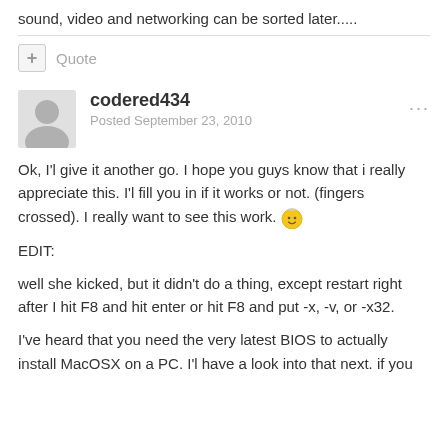sound, video and networking can be sorted later.....
Quote
codered434
Posted September 23, 2010
Ok, I'l give it another go. I hope you guys know that i really appreciate this. I'l fill you in if it works or not. (fingers crossed). I really want to see this work. 😇
EDIT:
well she kicked, but it didn't do a thing, except restart right after I hit F8 and hit enter or hit F8 and put -x, -v, or -x32.
I've heard that you need the very latest BIOS to actually install MacOSX on a PC. I'l have a look into that next. if you
...